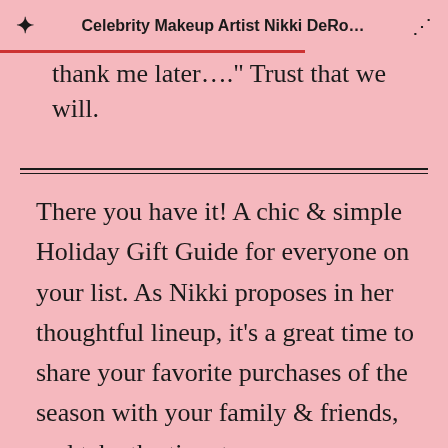Celebrity Makeup Artist Nikki DeRo...
thank me later…." Trust that we will.
There you have it! A chic & simple Holiday Gift Guide for everyone on your list. As Nikki proposes in her thoughtful lineup, it's a great time to share your favorite purchases of the season with your family & friends, and take the time to express your gratitude with a little something special you know they would love. For more of Nikki's favorites in beauty and